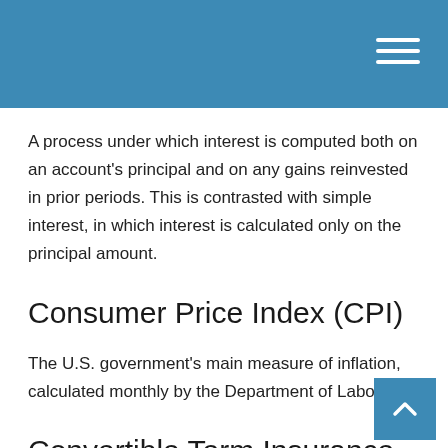A process under which interest is computed both on an account's principal and on any gains reinvested in prior periods. This is contrasted with simple interest, in which interest is calculated only on the principal amount.
Consumer Price Index (CPI)
The U.S. government's main measure of inflation, calculated monthly by the Department of Labor.
Convertible Term Insurance
A term life insurance policy under which the policyholder has the right to convert the policy to permanent life insurance, subject to